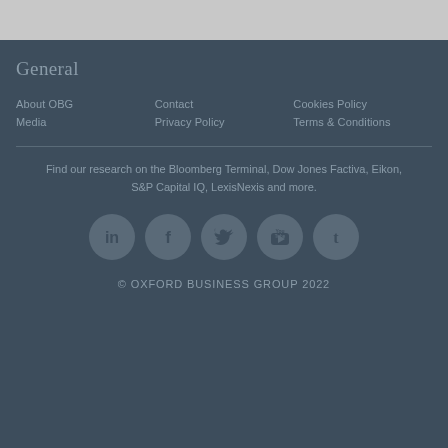General
About OBG
Media
Contact
Privacy Policy
Cookies Policy
Terms & Conditions
Find our research on the Bloomberg Terminal, Dow Jones Factiva, Eikon, S&P Capital IQ, LexisNexis and more.
[Figure (other): Five social media icons in circular buttons: LinkedIn, Facebook, Twitter, YouTube, Tumblr]
© OXFORD BUSINESS GROUP 2022